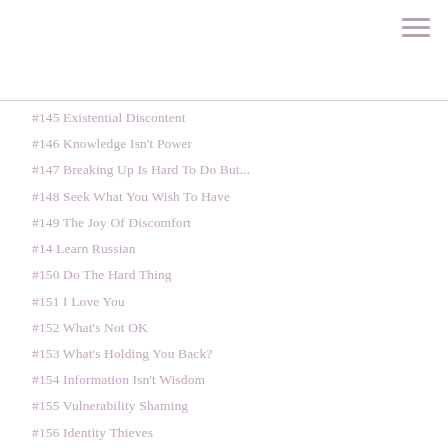#145 Existential Discontent
#146 Knowledge Isn't Power
#147 Breaking Up Is Hard To Do But...
#148 Seek What You Wish To Have
#149 The Joy Of Discomfort
#14 Learn Russian
#150 Do The Hard Thing
#151 I Love You
#152 What's Not OK
#153 What's Holding You Back?
#154 Information Isn't Wisdom
#155 Vulnerability Shaming
#156 Identity Thieves
#157 What If Emotional 'Guilt' Didn't Exist?
#158 Love Thyself
#159 Level The Playing Field
#15 Not Everyone's Cup Of Tea